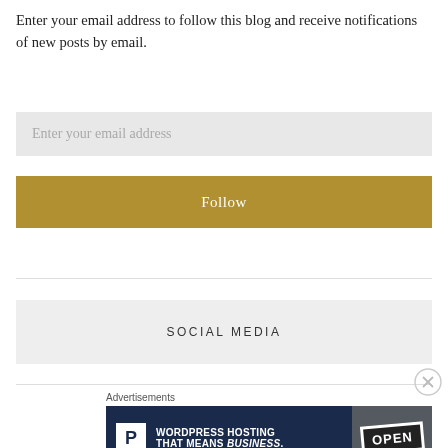Enter your email address to follow this blog and receive notifications of new posts by email.
[Figure (screenshot): Email input field with placeholder text 'Enter your email address' on a light grey background]
[Figure (screenshot): Gold/dark yellow 'Follow' button]
SOCIAL MEDIA
[Figure (screenshot): Advertisement banner: WordPress Hosting That Means BUSINESS. with P logo on the left and an OPEN sign photo on the right]
Advertisements